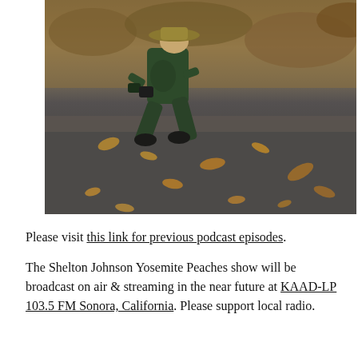[Figure (photo): A park ranger in dark green uniform and wide-brimmed hat crouches down on an asphalt path scattered with dry fallen oak leaves, holding a camera or device. Dry brush and shrubs fill the background.]
Please visit this link for previous podcast episodes.
The Shelton Johnson Yosemite Peaches show will be broadcast on air & streaming in the near future at KAAD-LP 103.5 FM Sonora, California. Please support local radio.